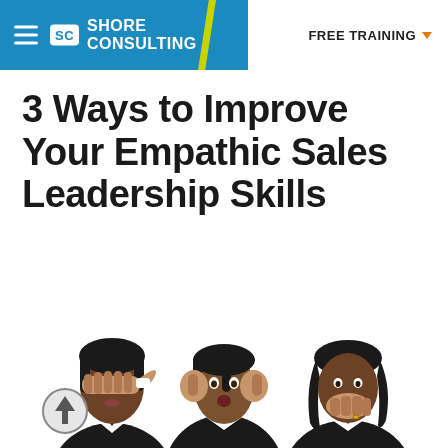SC Shore Consulting | FREE TRAINING
3 Ways to Improve Your Empathic Sales Leadership Skills
[Figure (photo): Three poses of the same Black businesswoman in a white shirt and black blazer: (left) covering her eyes with both hands, (center) covering her ears with both hands, (right) covering her mouth with one hand — referencing the 'see no evil, hear no evil, speak no evil' motif. A circular scroll-up button with an upward arrow is visible at lower-left.]